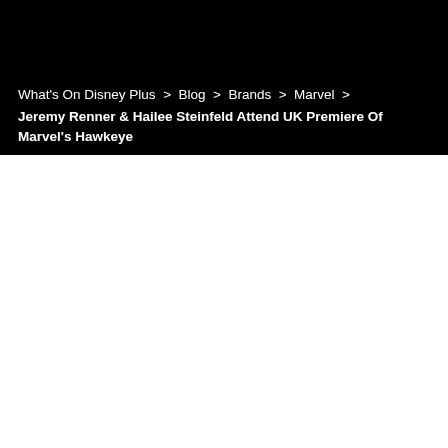What's On Disney Plus  >  Blog  >  Brands  >  Marvel  >  Jeremy Renner & Hailee Steinfeld Attend UK Premiere Of Marvel's Hawkeye